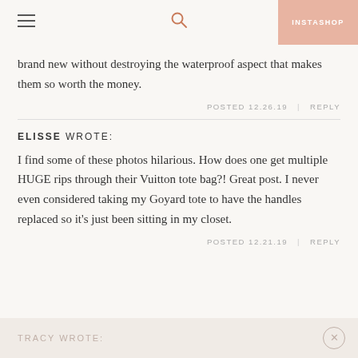INSTASHOP
brand new without destroying the waterproof aspect that makes them so worth the money.
POSTED 12.26.19  |  REPLY
ELISSE WROTE:
I find some of these photos hilarious. How does one get multiple HUGE rips through their Vuitton tote bag?! Great post. I never even considered taking my Goyard tote to have the handles replaced so it's just been sitting in my closet.
POSTED 12.21.19  |  REPLY
TRACY WROTE: